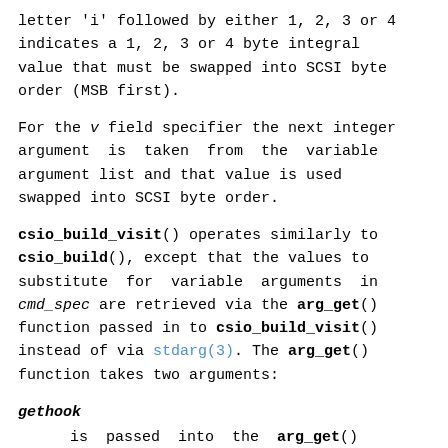letter 'i' followed by either 1, 2, 3 or 4 indicates a 1, 2, 3 or 4 byte integral value that must be swapped into SCSI byte order (MSB first).
For the v field specifier the next integer argument is taken from the variable argument list and that value is used swapped into SCSI byte order.
csio_build_visit() operates similarly to csio_build(), except that the values to substitute for variable arguments in cmd_spec are retrieved via the arg_get() function passed in to csio_build_visit() instead of via stdarg(3). The arg_get() function takes two arguments:
gethook
is passed into the arg_get() function at each invocation. This